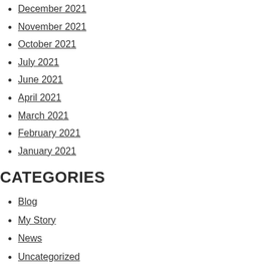December 2021
November 2021
October 2021
July 2021
June 2021
April 2021
March 2021
February 2021
January 2021
CATEGORIES
Blog
My Story
News
Uncategorized
Wellness Matters
META
Log in